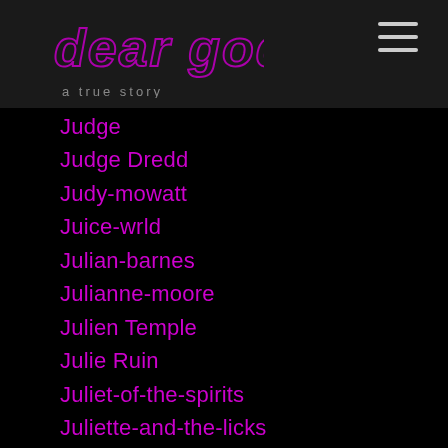dear god
Judge
Judge Dredd
Judy-mowatt
Juice-wrld
Julian-barnes
Julianne-moore
Julien Temple
Julie Ruin
Juliet-of-the-spirits
Juliette-and-the-licks
Jungle Brothers
Junkie
Jurgen-klopp
Justine Frischmann
Justin-figueroa
Justin Timberlake
Justin-warfield